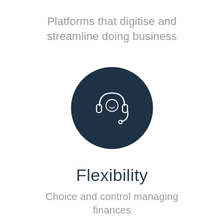Platforms that digitise and streamline doing business
[Figure (illustration): Dark navy blue circle with a white headset/customer service icon in the center]
Flexibility
Choice and control managing finances